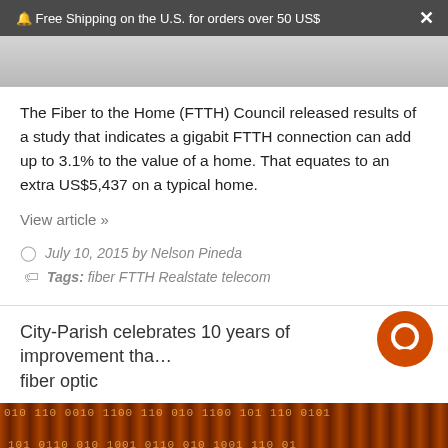🔔 Free Shipping on the U.S. for orders over 50 US$
[Figure (photo): Partial grayscale image at top of page, partially cropped]
The Fiber to the Home (FTTH) Council released results of a study that indicates a gigabit FTTH connection can add up to 3.1% to the value of a home. That equates to an extra US$5,437 on a typical home.
View article »
July 10, 2015 by Nelson Pineda
Tags: fiber FTTH Realstate telecom
City-Parish celebrates 10 years of improvement tha… fiber optic
[Figure (photo): Dark orange/brown image with binary digit pattern at bottom of page]